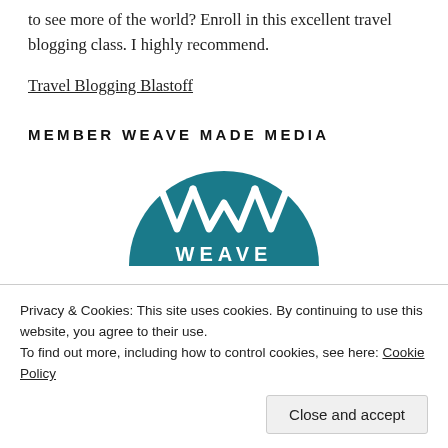to see more of the world? Enroll in this excellent travel blogging class. I highly recommend.
Travel Blogging Blastoff
MEMBER WEAVE MADE MEDIA
[Figure (logo): Weave Made Media circular logo with geometric W symbol in white on teal background, with text WEAVE partially visible]
Privacy & Cookies: This site uses cookies. By continuing to use this website, you agree to their use.
To find out more, including how to control cookies, see here: Cookie Policy
Close and accept